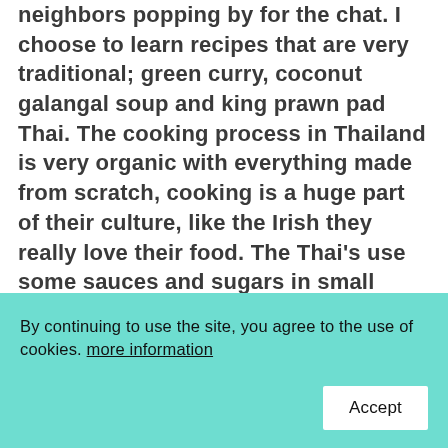neighbors popping by for the chat. I choose to learn recipes that are very traditional; green curry, coconut galangal soup and king prawn pad Thai. The cooking process in Thailand is very organic with everything made from scratch, cooking is a huge part of their culture, like the Irish they really love their food. The Thai's use some sauces and sugars in small amounts, some which are easily substituted- which I have made recommendations for below. I also ended up visiting
By continuing to use the site, you agree to the use of cookies. more information
Accept